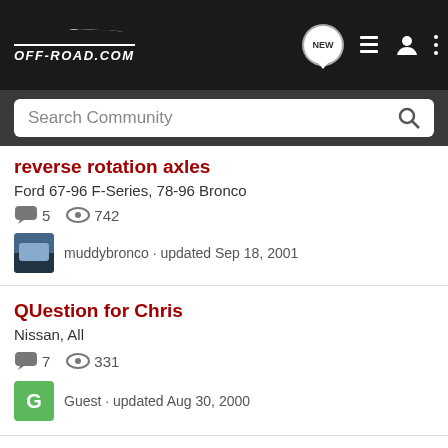OFF-ROAD.COM
Search Community
reverse rotation axles
Ford 67-96 F-Series, 78-96 Bronco
5 replies, 742 views
muddybronco · updated Sep 18, 2001
QUestion for Chris
Nissan, All
7 replies, 331 views
Guest · updated Aug 30, 2000
Dana 6
GM Sta
[Figure (logo): GMC logo on black background]